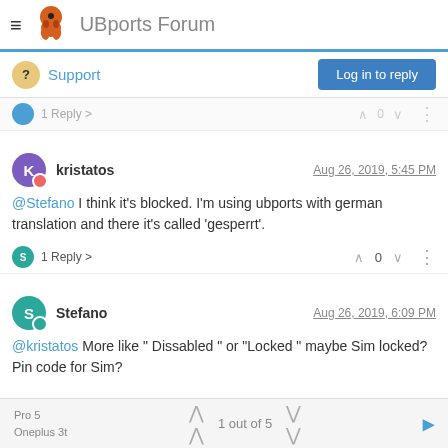UBports Forum
Support
Log in to reply
1 Reply >
kristatos  Aug 26, 2019, 5:45 PM
@Stefano I think it's blocked. I'm using ubports with german translation and there it's called ‘gesperrt’.
1 Reply >  0
Stefano  Aug 26, 2019, 6:09 PM
@kristatos More like " Dissabled " or "Locked " maybe Sim locked? Pin code for Sim?
Pro 5
Oneplus 3t
1 out of 5